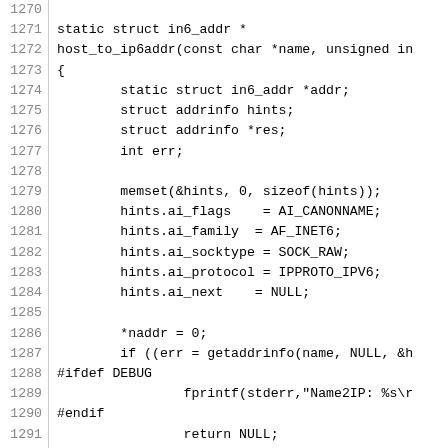Source code listing lines 1270-1299 showing a C function host_to_ip6addr with struct declarations, memset, hints assignments, getaddrinfo call, ifdef DEBUG blocks, and nested if/else logic.